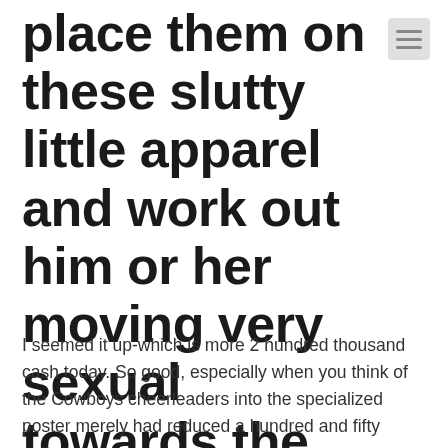place them on these slutty little apparel and work out him or her moving very sexual towards the Tv and on the field
I seemed it up-which is more 2 hundred thousand cash today. So good, especially when you think of the Cowboys cheerleaders into the specialized poster merely had reduced a hundred and fifty dollars.
And therefore blog post is among the a great deal more fascinating elements of that it whole issue. It's of the a writer